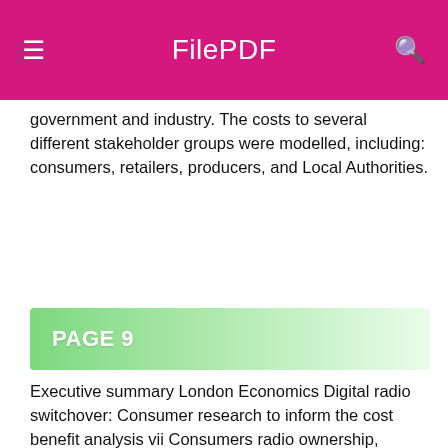FilePDF
government and industry. The costs to several different stakeholder groups were modelled, including: consumers, retailers, producers, and Local Authorities.
PAGE 9
Executive summary London Economics Digital radio switchover: Consumer research to inform the cost benefit analysis vii Consumers radio ownership, listening habits and attitudes towards digital radio Radio ownership Radio ownership and take up of digital radio are important indicators of how close consumers are to being ready for a digital switchover. According to the online survey results just over half of survey respondents own a digital radio, although this is still well below the share who own an analogue radio (which stands at 79%). However, the extent of digital radio ownership varies between different groups. In particular, those in the working class and lowest grade socio